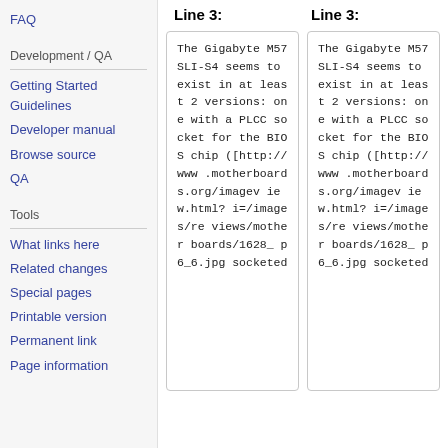FAQ
Development / QA
Getting Started Guidelines
Developer manual
Browse source
QA
Tools
What links here
Related changes
Special pages
Printable version
Permanent link
Page information
Line 3:
Line 3:
The Gigabyte M57SLI-S4 seems to exist in at least 2 versions: one with a PLCC socket for the BIOS chip ([http://www.motherboards.org/imageview.html?i=/images/reviews/motherboards/1628_p6_6.jpg socketed
The Gigabyte M57SLI-S4 seems to exist in at least 2 versions: one with a PLCC socket for the BIOS chip ([http://www.motherboards.org/imageview.html?i=/images/reviews/motherboards/1628_p6_6.jpg socketed